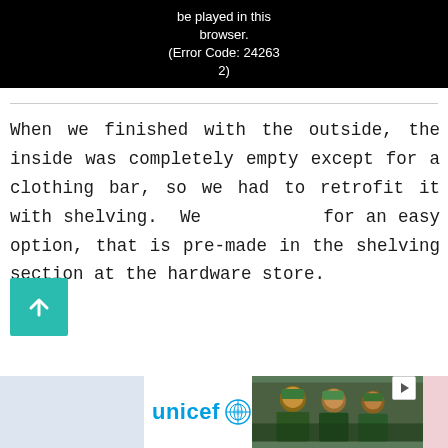[Figure (screenshot): Black video player area showing error message: 'be played in this browser. (Error Code: 242632)']
When we finished with the outside, the inside was completely empty except for a clothing bar, so we had to retrofit it with shelving. We w for an easy option, that is pre-made in the shelving section at the hardware store.
[Figure (infographic): Teal/green square scroll-to-top button with white upward arrow icon]
[Figure (photo): Advertisement banner: UNICEF logo on left with blue text and globe icon, photo of smiling African schoolchildren in green hats on right]